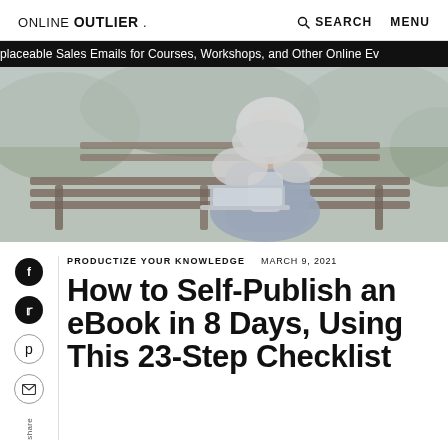ONLINE OUTLIER .   SEARCH   MENU
placeable Sales Emails for Courses, Workshops, and Other Online Ev
[Figure (photo): A young woman wearing a hijab and denim jacket sitting on a park bench using a laptop, with green foliage in the background. Image has a muted, slightly gray-blue tone.]
PRODUCTIZE YOUR KNOWLEDGE   MARCH 9, 2021
How to Self-Publish an eBook in 8 Days, Using This 23-Step Checklist